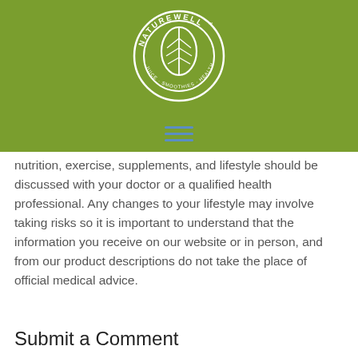[Figure (logo): Naturewell circular logo with leaf design on olive green background. Text reads NATUREWELL with tagline JUICE · SMOOTHIES · HEALTH around the circle.]
nutrition, exercise, supplements, and lifestyle should be discussed with your doctor or a qualified health professional. Any changes to your lifestyle may involve taking risks so it is important to understand that the information you receive on our website or in person, and from our product descriptions do not take the place of official medical advice.
Submit a Comment